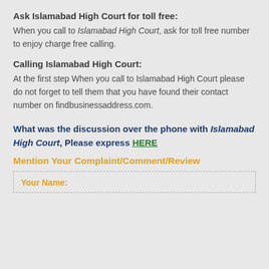Ask Islamabad High Court for toll free:
When you call to Islamabad High Court, ask for toll free number to enjoy charge free calling.
Calling Islamabad High Court:
At the first step When you call to Islamabad High Court please do not forget to tell them that you have found their contact number on findbusinessaddress.com.
What was the discussion over the phone with Islamabad High Court, Please express HERE
Mention Your Complaint/Comment/Review
Your Name: